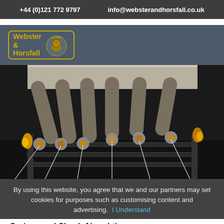+44 (0)121 772 9797    info@websterandhorsfall.co.uk
[Figure (logo): Webster & Horsfall logo with lion emblem, est 1720, yellow border on grey background]
[Figure (photo): Industrial wire drawing machinery showing multiple metal rods with glowing hot tips and steel wires being drawn through dies]
By using this website, you agree that we and our partners may set cookies for purposes such as customising content and advertising.  I Understand
Springs and Shock Absorbtion